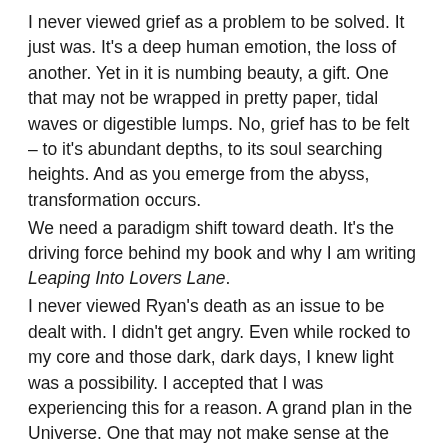I never viewed grief as a problem to be solved. It just was. It's a deep human emotion, the loss of another. Yet in it is numbing beauty, a gift. One that may not be wrapped in pretty paper, tidal waves or digestible lumps. No, grief has to be felt – to it's abundant depths, to its soul searching heights. And as you emerge from the abyss, transformation occurs.
We need a paradigm shift toward death. It's the driving force behind my book and why I am writing Leaping Into Lovers Lane.
I never viewed Ryan's death as an issue to be dealt with. I didn't get angry. Even while rocked to my core and those dark, dark days, I knew light was a possibility. I accepted that I was experiencing this for a reason. A grand plan in the Universe. One that may not make sense at the time, and feel like a heavy toll to pay, but one that I accepted.